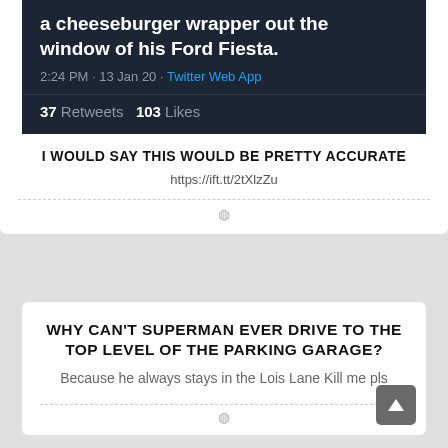[Figure (screenshot): Twitter screenshot showing tweet text 'a cheeseburger wrapper out the window of his Ford Fiesta.' with timestamp '2:24 PM · 13 Jan 20 · Twitter Web App' and stats '37 Retweets 103 Likes']
I WOULD SAY THIS WOULD BE PRETTY ACCURATE
https://ift.tt/2tXlzZu
WHY CAN'T SUPERMAN EVER DRIVE TO THE TOP LEVEL OF THE PARKING GARAGE?
Because he always stays in the Lois Lane Kill me pls